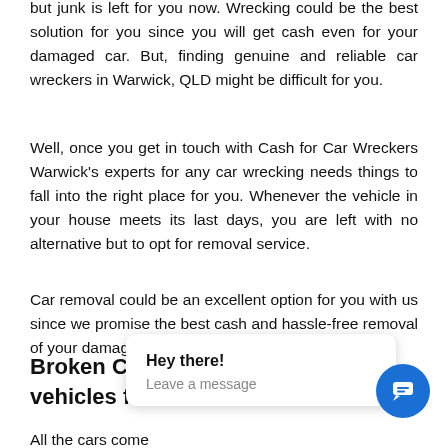but junk is left for you now. Wrecking could be the best solution for you since you will get cash even for your damaged car. But, finding genuine and reliable car wreckers in Warwick, QLD might be difficult for you.
Well, once you get in touch with Cash for Car Wreckers Warwick's experts for any car wrecking needs things to fall into the right place for you. Whenever the vehicle in your house meets its last days, you are left with no alternative but to opt for removal service.
Car removal could be an excellent option for you with us since we promise the best cash and hassle-free removal of your damaged and wrecked vehicle.
Broken Car Collection remove all vehicles for Free in Warwick
All the cars come                                                afte